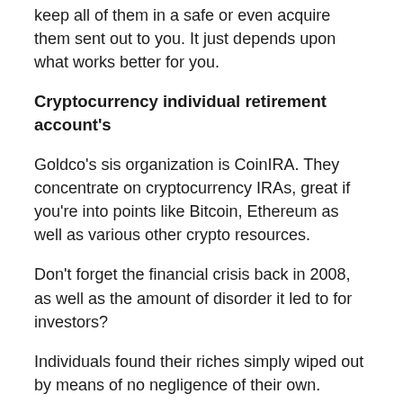keep all of them in a safe or even acquire them sent out to you. It just depends upon what works better for you.
Cryptocurrency individual retirement account’s
Goldco’s sis organization is CoinIRA. They concentrate on cryptocurrency IRAs, great if you’re into points like Bitcoin, Ethereum as well as various other crypto resources.
Don’t forget the financial crisis back in 2008, as well as the amount of disorder it led to for investors?
Individuals found their riches simply wiped out by means of no negligence of their own.